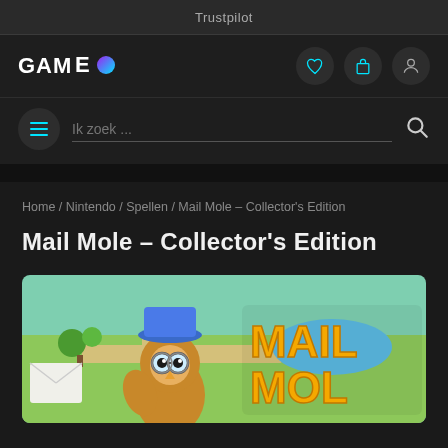Trustpilot
[Figure (logo): GAMEO logo with gradient circle O, navigation icons for wishlist, cart, and account]
Ik zoek...
Home / Nintendo / Spellen / Mail Mole – Collector's Edition
Mail Mole – Collector's Edition
[Figure (photo): Mail Mole Collector's Edition game cover showing a cartoon owl postal worker with blue hat and goggles on a colorful 3D map background with yellow MAIL MOLE logo text]